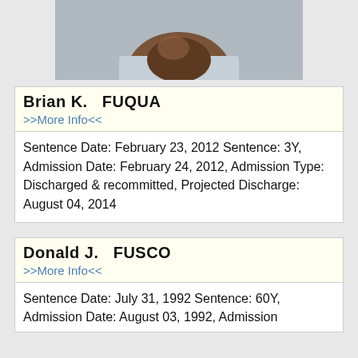[Figure (photo): Partial mugshot photo of an individual, showing lower face/neck and shirt, cropped at top]
Brian K.  FUQUA
>>More Info<<
Sentence Date: February 23, 2012 Sentence: 3Y, Admission Date: February 24, 2012, Admission Type: Discharged & recommitted, Projected Discharge: August 04, 2014
Donald J.  FUSCO
>>More Info<<
Sentence Date: July 31, 1992 Sentence: 60Y, Admission Date: August 03, 1992, Admission